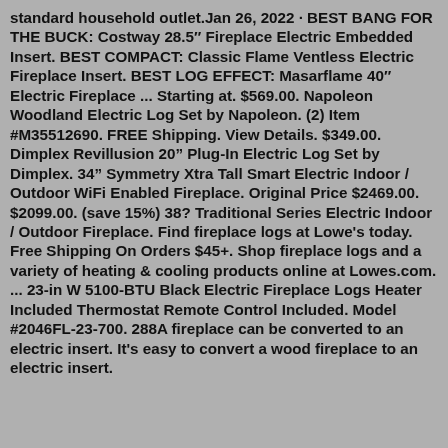standard household outlet.Jan 26, 2022 · BEST BANG FOR THE BUCK: Costway 28.5″ Fireplace Electric Embedded Insert. BEST COMPACT: Classic Flame Ventless Electric Fireplace Insert. BEST LOG EFFECT: Masarflame 40″ Electric Fireplace ... Starting at. $569.00. Napoleon Woodland Electric Log Set by Napoleon. (2) Item #M35512690. FREE Shipping. View Details. $349.00. Dimplex Revillusion 20" Plug-In Electric Log Set by Dimplex. 34" Symmetry Xtra Tall Smart Electric Indoor / Outdoor WiFi Enabled Fireplace. Original Price $2469.00. $2099.00. (save 15%) 38? Traditional Series Electric Indoor / Outdoor Fireplace. Find fireplace logs at Lowe's today. Free Shipping On Orders $45+. Shop fireplace logs and a variety of heating & cooling products online at Lowes.com. ... 23-in W 5100-BTU Black Electric Fireplace Logs Heater Included Thermostat Remote Control Included. Model #2046FL-23-700. 288A fireplace can be converted to an electric insert. It's easy to convert a wood fireplace to an electric insert. Because the visit the next page...